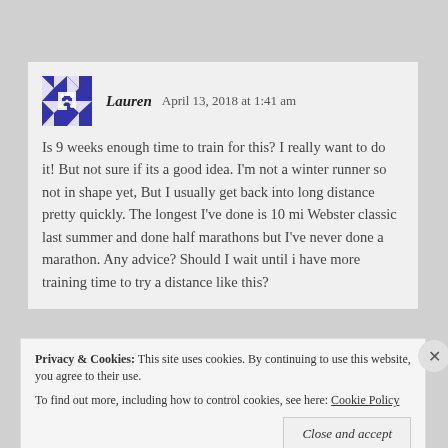Lauren   April 13, 2018 at 1:41 am
Is 9 weeks enough time to train for this? I really want to do it! But not sure if its a good idea. I'm not a winter runner so not in shape yet, But I usually get back into long distance pretty quickly. The longest I've done is 10 mi Webster classic last summer and done half marathons but I've never done a marathon. Any advice? Should I wait until i have more training time to try a distance like this?
Privacy & Cookies:  This site uses cookies. By continuing to use this website, you agree to their use. To find out more, including how to control cookies, see here: Cookie Policy
Close and accept